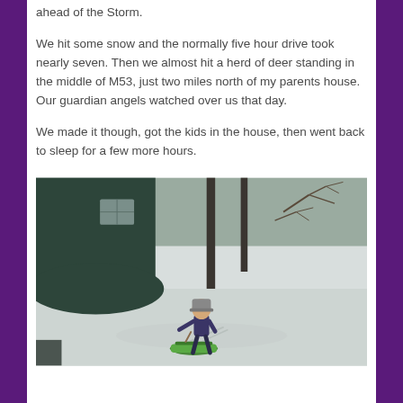ahead of the Storm.

We hit some snow and the normally five hour drive took nearly seven. Then we almost hit a herd of deer standing in the middle of M53, just two miles north of my parents house. Our guardian angels watched over us that day.

We made it though, got the kids in the house, then went back to sleep for a few more hours.
[Figure (photo): A child in winter clothing pulling a green sled across a snow-covered yard. A dark green building is visible in the background along with bare trees.]